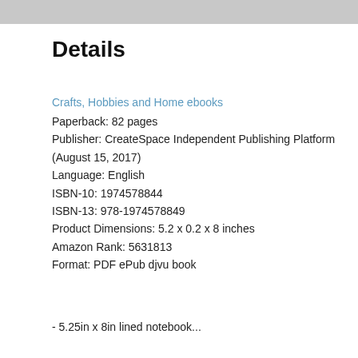[Figure (photo): Partial image strip at top of page, showing a grey/textured surface]
Details
Crafts, Hobbies and Home ebooks
Paperback: 82 pages
Publisher: CreateSpace Independent Publishing Platform (August 15, 2017)
Language: English
ISBN-10: 1974578844
ISBN-13: 978-1974578849
Product Dimensions: 5.2 x 0.2 x 8 inches
Amazon Rank: 5631813
Format: PDF ePub djvu book
- 5.25in x 8in lined notebook...